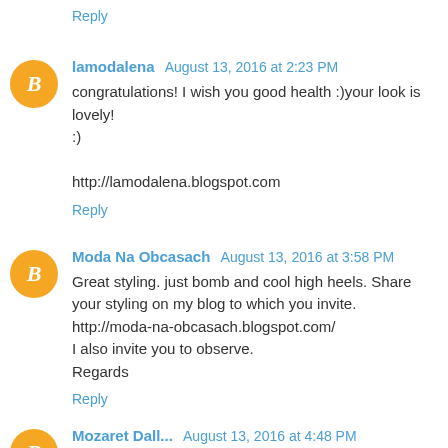Reply
lamodalena August 13, 2016 at 2:23 PM
congratulations! I wish you good health :)your look is lovely! :)
http://lamodalena.blogspot.com
Reply
Moda Na Obcasach August 13, 2016 at 3:58 PM
Great styling. just bomb and cool high heels. Share your styling on my blog to which you invite. http://moda-na-obcasach.blogspot.com/ I also invite you to observe. Regards
Reply
Mozaret Dall... August 13, 2016 at 4:48 PM